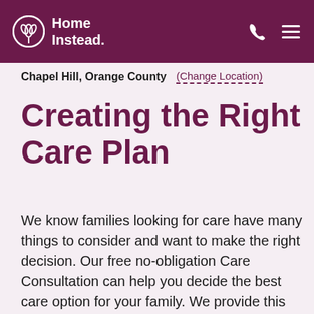Home Instead
Chapel Hill, Orange County  (Change Location)
Creating the Right Care Plan
We know families looking for care have many things to consider and want to make the right decision. Our free no-obligation Care Consultation can help you decide the best care option for your family. We provide this service because we are passionate about helping